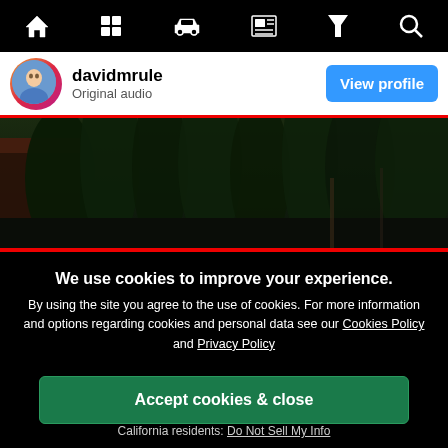[Figure (screenshot): Mobile app navigation bar with icons: home, grid, car, newspaper, filter/funnel, search]
davidmrule
Original audio
View profile
[Figure (photo): Dark outdoor photo showing pine trees and part of a building/structure]
We use cookies to improve your experience.
By using the site you agree to the use of cookies. For more information and options regarding cookies and personal data see our Cookies Policy and Privacy Policy
Accept cookies & close
California residents: Do Not Sell My Info